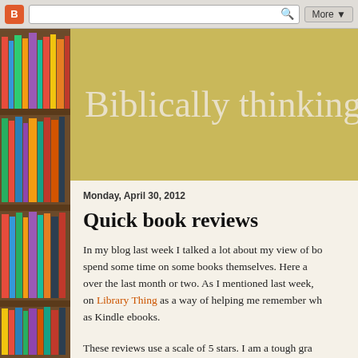Blogger toolbar with search and More button
[Figure (photo): Bookshelf with colorful books on the left sidebar]
Biblically thinking
Monday, April 30, 2012
Quick book reviews
In my blog last week I talked a lot about my view of bo... spend some time on some books themselves. Here a... over the last month or two. As I mentioned last week, on Library Thing as a way of helping me remember wh... as Kindle ebooks.
These reviews use a scale of 5 stars. I am a tough gra... in the years I've been grading books is Crazy Love: O...